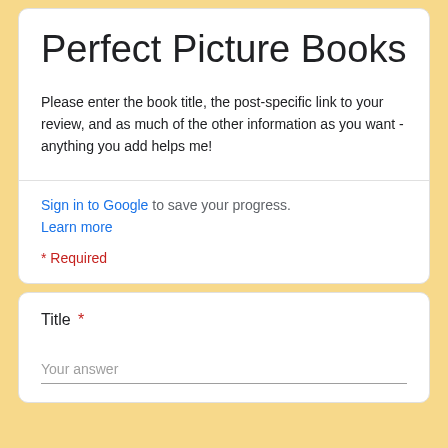Perfect Picture Books
Please enter the book title, the post-specific link to your review, and as much of the other information as you want - anything you add helps me!
Sign in to Google to save your progress. Learn more
* Required
Title *
Your answer